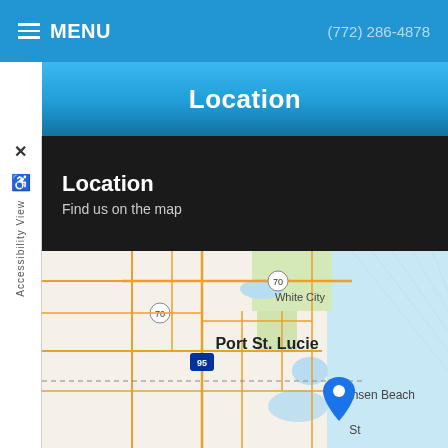MENU   (772) 286-4878
Location
Location
Find us on the map
[Figure (map): Google Maps view showing Port St. Lucie area in Florida, with roads, waterways, White City, Jensen Beach, Stuart labeled, route 70, I-95 highways, and a blue location pin marker near Stuart/Jensen Beach on the east coast.]